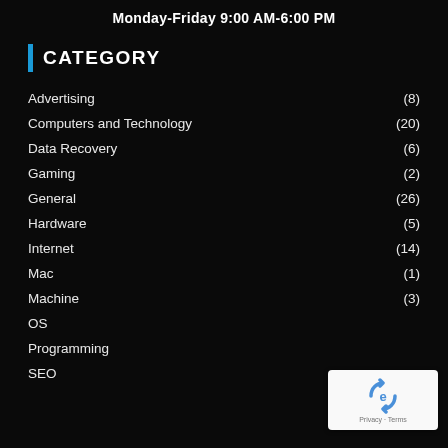Monday-Friday 9:00 AM-6:00 PM
CATEGORY
Advertising (8)
Computers and Technology (20)
Data Recovery (6)
Gaming (2)
General (26)
Hardware (5)
Internet (14)
Mac (1)
Machine (3)
OS
Programming
SEO (2)